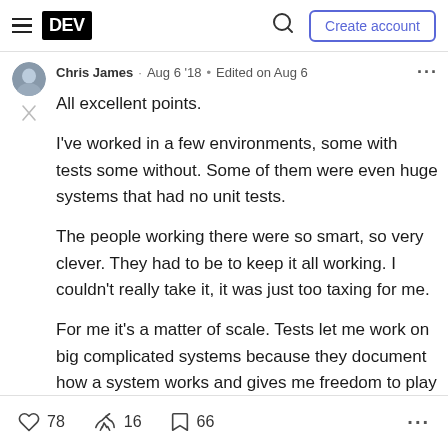DEV  Create account
Chris James · Aug 6 '18 • Edited on Aug 6
All excellent points.

I've worked in a few environments, some with tests some without. Some of them were even huge systems that had no unit tests.

The people working there were so smart, so very clever. They had to be to keep it all working. I couldn't really take it, it was just too taxing for me.

For me it's a matter of scale. Tests let me work on big complicated systems because they document how a system works and gives me freedom to play
78  16  66